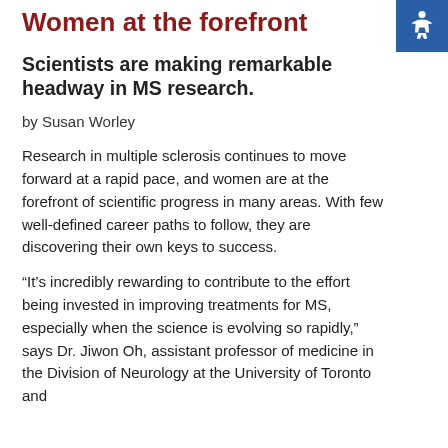Women at the forefront
Scientists are making remarkable headway in MS research.
by Susan Worley
Research in multiple sclerosis continues to move forward at a rapid pace, and women are at the forefront of scientific progress in many areas. With few well-defined career paths to follow, they are discovering their own keys to success.
“It’s incredibly rewarding to contribute to the effort being invested in improving treatments for MS, especially when the science is evolving so rapidly,” says Dr. Jiwon Oh, assistant professor of medicine in the Division of Neurology at the University of Toronto and